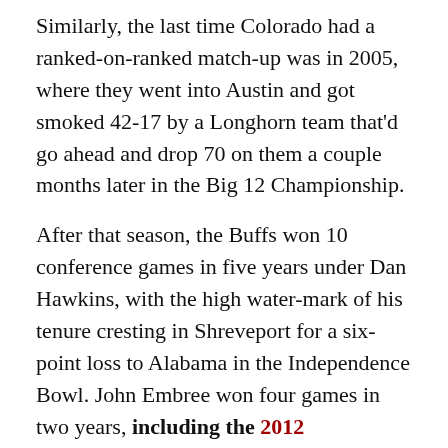Similarly, the last time Colorado had a ranked-on-ranked match-up was in 2005, where they went into Austin and got smoked 42-17 by a Longhorn team that'd go ahead and drop 70 on them a couple months later in the Big 12 Championship.
After that season, the Buffs won 10 conference games in five years under Dan Hawkins, with the high water-mark of his tenure cresting in Shreveport for a six-point loss to Alabama in the Independence Bowl. John Embree won four games in two years, including the 2012 homecoming game against WSU, and now after three somewhat garbage seasons, Mike MacIntyre and his Colorado Buffaloes have ripped off eight wins not a lot of people saw coming.
Washington State flirted with six wins throughout most of Bill Doba's regime, following that 2003 Holiday Bowl...